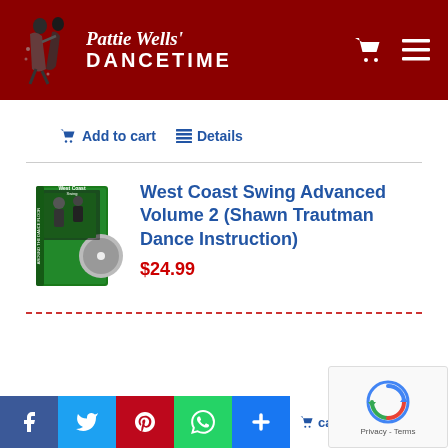Pattie Wells' DANCETIME
Add to cart   Details
[Figure (photo): DVD product image for West Coast Swing Advanced Volume 2 with dancers on green background]
West Coast Swing Advanced Volume 2 (Shawn Trautman Dance Instruction)
$24.99
Add to cart   Details